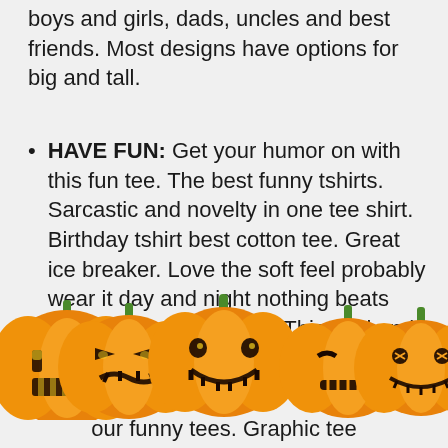boys and girls, dads, uncles and best friends. Most designs have options for big and tall.
HAVE FUN: Get your humor on with this fun tee. The best funny tshirts. Sarcastic and novelty in one tee shirt. Birthday tshirt best cotton tee. Great ice breaker. Love the soft feel probably wear it day and night nothing beats tshirts you can sleep in. This cool and stylist t shirt is professional
[Figure (illustration): A row of five carved Halloween jack-o-lantern pumpkins with glowing faces, all orange with green stems, displayed across the bottom of the page]
our funny tees. Graphic tee